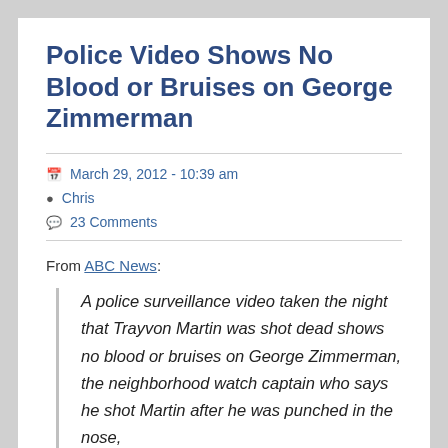Police Video Shows No Blood or Bruises on George Zimmerman
March 29, 2012 - 10:39 am
Chris
23 Comments
From ABC News:
A police surveillance video taken the night that Trayvon Martin was shot dead shows no blood or bruises on George Zimmerman, the neighborhood watch captain who says he shot Martin after he was punched in the nose, knocked down and had his head slammed into